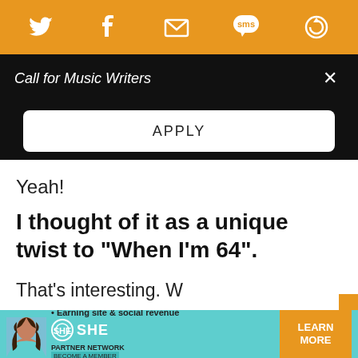[Figure (screenshot): Orange social media share bar with Twitter, Facebook, email, SMS, and refresh icons in white on orange background]
Call for Music Writers
APPLY
Yeah!
I thought of it as a unique twist to “When I’m 64”.
That’s interesting. W don’t think of Paul a so he’s an older gen now? I think he is
[Figure (screenshot): SHE Media Partner Network advertisement with teal background, woman photo, bullet point Earning site & social revenue, SHE logo, LEARN MORE button in orange]